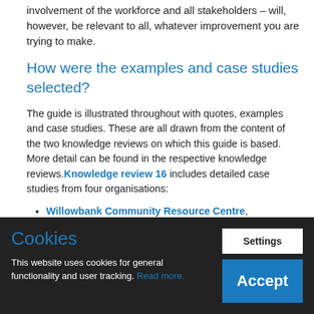involvement of the workforce and all stakeholders – will, however, be relevant to all, whatever improvement you are trying to make.
How were the examples and case studies selected?
The guide is illustrated throughout with quotes, examples and case studies. These are all drawn from the content of the two knowledge reviews on which this guide is based. More detail can be found in the respective knowledge reviews. Knowledge review 16 includes detailed case studies from four organisations:
Willowbank Community Resource Centre, Dungannon, Northern Ireland – a rights-based
Cookies
This website uses cookies for general functionality and user tracking. Read more.